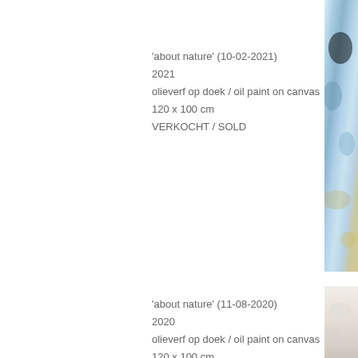[Figure (photo): Partial view of a painting with blue, green and white abstract nature motifs, cropped at right edge of page]
'about nature' (10-02-2021)
2021
olieverf op doek / oil paint on canvas
120 x 100 cm
VERKOCHT / SOLD
[Figure (photo): Partial view of a painting with pale/white textured abstract nature motifs, cropped at right edge of page, bottom of page]
'about nature' (11-08-2020)
2020
olieverf op doek / oil paint on canvas
120 x 100 cm